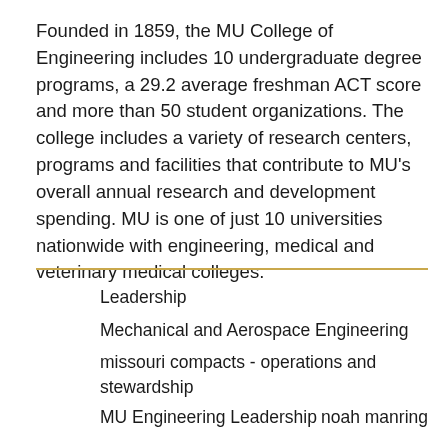Founded in 1859, the MU College of Engineering includes 10 undergraduate degree programs, a 29.2 average freshman ACT score and more than 50 student organizations. The college includes a variety of research centers, programs and facilities that contribute to MU's overall annual research and development spending. MU is one of just 10 universities nationwide with engineering, medical and veterinary medical colleges.
Leadership
Mechanical and Aerospace Engineering
missouri compacts - operations and stewardship
MU Engineering Leadership     noah manring